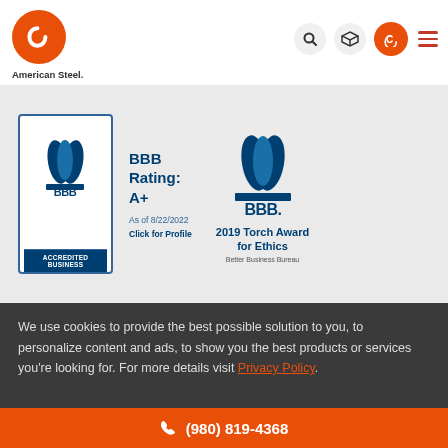[Figure (logo): American Steel American Jobs company logo with orange circle containing C-shaped bracket, with navigation icons (search, box, phone, hamburger menu) on the right]
American Steel.
American Jobs.
[Figure (infographic): BBB Accredited Business badge with BBB Rating: A+ as of 8/22/2022, Click for Profile text, and BBB 2019 Torch Award for Ethics badge from Better Business Bureau]
We use cookies to provide the best possible solution to you, to personalize content and ads, to show you the best products or services you're looking for. For more details visit Privacy Policy.
OK, THANKS
(980) 819-4368